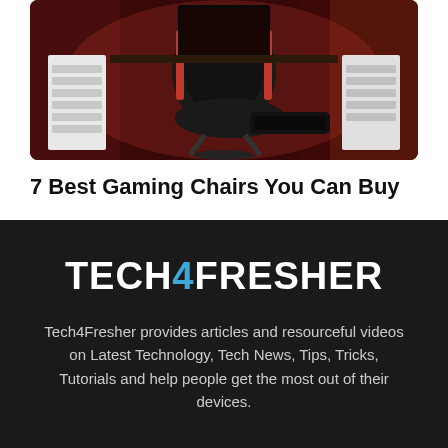[Figure (photo): Photo of a gaming setup with a black and red gaming chair, white drawer cabinets on either side, and red/orange ambient lighting]
7 Best Gaming Chairs You Can Buy
[Figure (logo): TECH4FRESHER logo — white bold text with the number 4 in blue]
Tech4Fresher provides articles and resourceful videos on Latest Technology, Tech News, Tips, Tricks, Tutorials and help people get the most out of their devices.